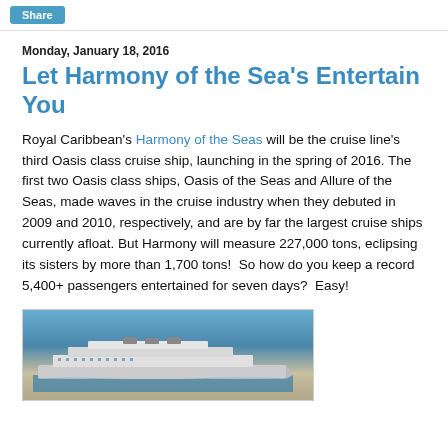Share
Monday, January 18, 2016
Let Harmony of the Sea's Entertain You
Royal Caribbean's Harmony of the Seas will be the cruise line's third Oasis class cruise ship, launching in the spring of 2016. The first two Oasis class ships, Oasis of the Seas and Allure of the Seas, made waves in the cruise industry when they debuted in 2009 and 2010, respectively, and are by far the largest cruise ships currently afloat. But Harmony will measure 227,000 tons, eclipsing its sisters by more than 1,700 tons!  So how do you keep a record 5,400+ passengers entertained for seven days?  Easy!
[Figure (photo): Aerial or side view of a large cruise ship on the ocean.]